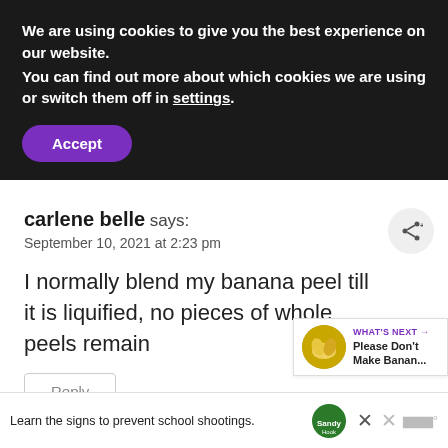We are using cookies to give you the best experience on our website.
You can find out more about which cookies we are using or switch them off in settings.
Accept
carlene belle says:
September 10, 2021 at 2:23 pm
I normally blend my banana peel till it is liquified, no pieces of whole peels remain
Reply
WHAT'S NEXT → Please Don't Make Banan...
Learn the signs to prevent school shootings.